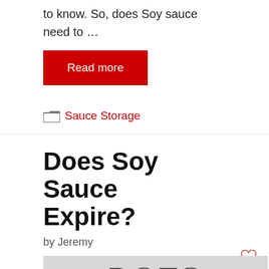to know. So, does Soy sauce need to …
Read more
Sauce Storage
Does Soy Sauce Expire?
by Jeremy
[Figure (illustration): Article header image showing text 'DOES SOY SAUCE EXPIRES?' in outlined bold letters on a gray background]